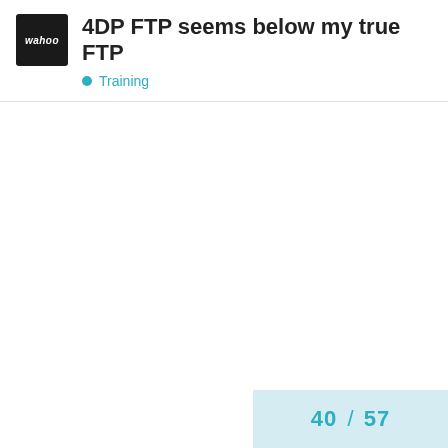4DP FTP seems below my true FTP
Training
40 / 57